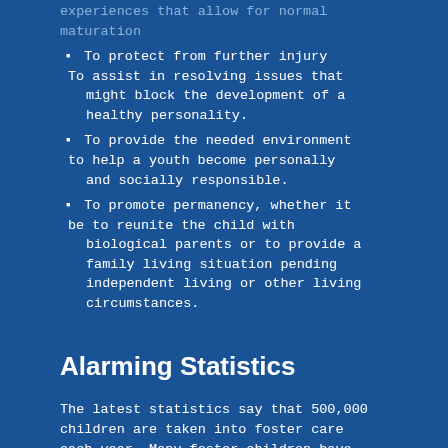experiences that allow for normal maturation
To protect from further injury To assist in resolving issues that might block the development of a healthy personality.
To provide the needed environment to help a youth become personally and socially responsible.
To promote permanency, whether it be to reunite the child with biological parents or to provide a family living situation pending independent living or other living circumstances.
Alarming Statistics
The latest statistics say that 500,000 children are taken into foster care each year. Many foster children have suffered from sexual or physical abuse or gross neglect. They may